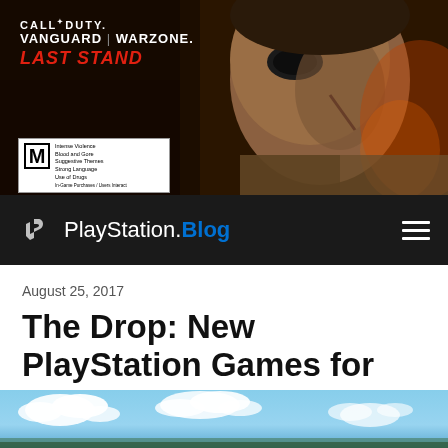[Figure (photo): Call of Duty Vanguard Warzone Last Stand promotional banner showing a scarred man with an eye patch against a dark urban background, with Mature rating box in bottom left]
PlayStation.Blog
August 25, 2017
The Drop: New PlayStation Games for 8/29/2017
29  0  17